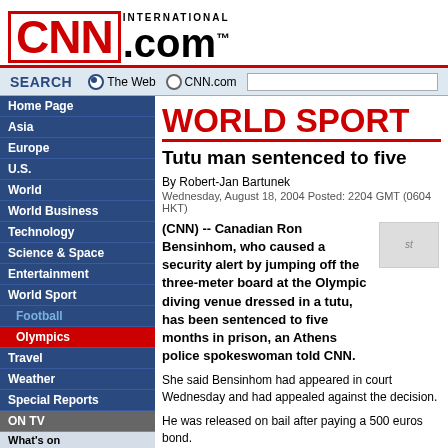[Figure (logo): CNN International .com logo in red and black]
SEARCH   The Web   CNN.com
WORLD SPORT
Tutu man sentenced to five
By Robert-Jan Bartunek
Wednesday, August 18, 2004 Posted: 2204 GMT (0604 HKT)
(CNN) -- Canadian Ron Bensinhom, who caused a security alert by jumping off the three-meter board at the Olympic diving venue dressed in a tutu, has been sentenced to five months in prison, an Athens police spokeswoman told CNN.
She said Bensinhom had appeared in court Wednesday and had appealed against the decision.
He was released on bail after paying a 500 euros bond.
Home Page
Asia
Europe
U.S.
World
World Business
Technology
Science & Space
Entertainment
World Sport
Football
Olympics
Travel
Weather
Special Reports
ON TV
What's on
Business Traveller
Design 360
Global Office
Principal Voices
Spark